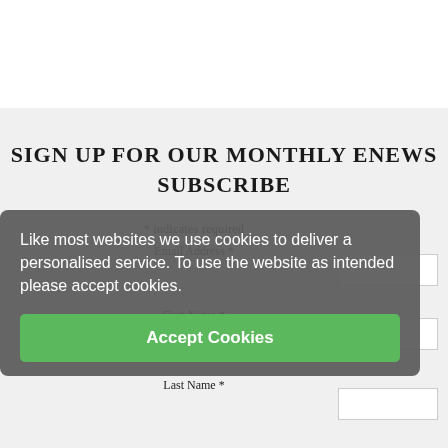SIGN UP FOR OUR MONTHLY ENEWS SUBSCRIBE
* indicates required
Email Address *
First Name *
Last Name *
Like most websites we use cookies to deliver a personalised service. To use the website as intended please accept cookies.
Accept Cookies